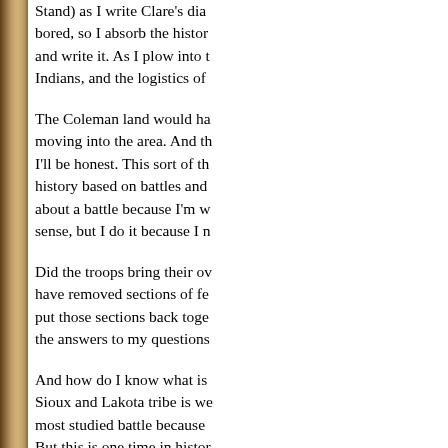[Figure (photo): Left margin showing a vertical strip of a brown/sepia textured image, likely a historical photograph or decorative border.]
Stand) as I write Clare's diary. I don't want to be bored, so I absorb the history of the time and place and write it. As I plow into the history of the plains Indians, and the logistics of
The Coleman land would have been in the path of settlers moving into the area. And this is one of those times I'll be honest. This sort of thing isn't easy. I like history based on battles and heroes, but when I write about a battle because I'm writing a novel, it makes sense, but I do it because I n
Did the troops bring their own fencing material, or have removed sections of fence to string wire and put those sections back together? I may never find the answers to my questions.
And how do I know what is true? The battle between Sioux and Lakota tribe is well documented. It is the most studied battle because we know Custer's name. But this is one time in histor
How do I know what is fact